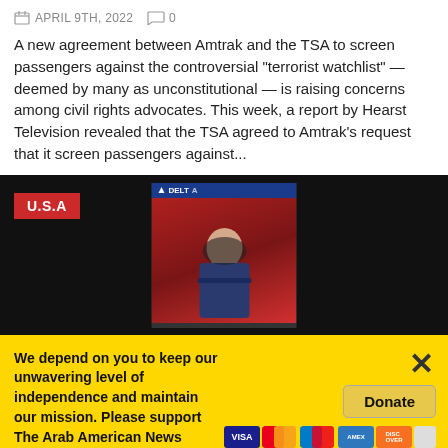APRIL 9TH, 2022  0
A new agreement between Amtrak and the TSA to screen passengers against the controversial "terrorist watchlist" — deemed by many as unconstitutional —  is raising concerns among civil rights advocates. This week, a report by Hearst Television revealed that the TSA agreed to Amtrak's request that it screen passengers against...
[Figure (screenshot): Video thumbnail showing a person wearing a mask at a Delta Airlines counter. Red 'U.S.A' badge in upper left. Dark background.]
We depend on you to keep our unwavering level of independence and maintain our mission. Please support The Arab American News today.